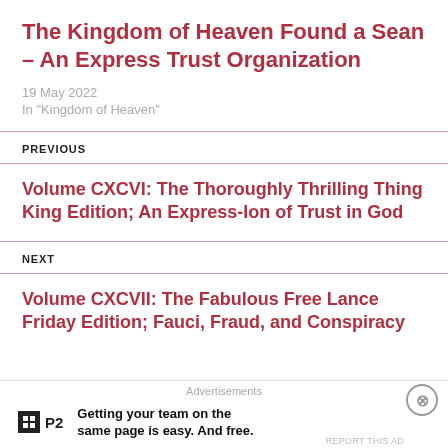The Kingdom of Heaven Found a Sean – An Express Trust Organization
19 May 2022
In "Kingdom of Heaven"
PREVIOUS
Volume CXCVI: The Thoroughly Thrilling Thing King Edition; An Express-Ion of Trust in God
NEXT
Volume CXCVII: The Fabulous Free Lance Friday Edition; Fauci, Fraud, and Conspiracy
Advertisements
Getting your team on the same page is easy. And free.